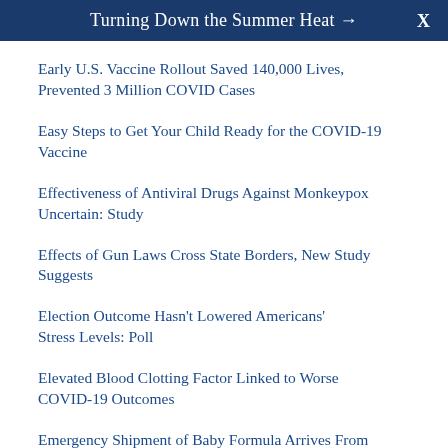Turning Down the Summer Heat → X
Early U.S. Vaccine Rollout Saved 140,000 Lives, Prevented 3 Million COVID Cases
Easy Steps to Get Your Child Ready for the COVID-19 Vaccine
Effectiveness of Antiviral Drugs Against Monkeypox Uncertain: Study
Effects of Gun Laws Cross State Borders, New Study Suggests
Election Outcome Hasn't Lowered Americans' Stress Levels: Poll
Elevated Blood Clotting Factor Linked to Worse COVID-19 Outcomes
Emergency Shipment of Baby Formula Arrives From Europe
E... Study: COVID Exposure Will It Affect...